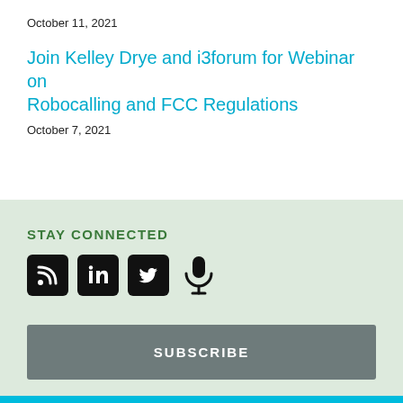October 11, 2021
Join Kelley Drye and i3forum for Webinar on Robocalling and FCC Regulations
October 7, 2021
STAY CONNECTED
[Figure (illustration): Four social media icons: RSS feed, LinkedIn, Twitter, and a microphone (podcast)]
SUBSCRIBE